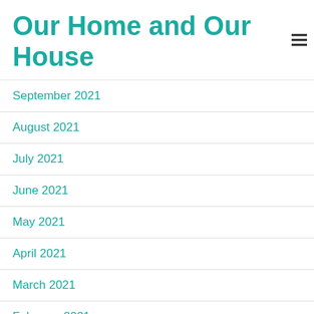Our Home and Our House
September 2021
August 2021
July 2021
June 2021
May 2021
April 2021
March 2021
February 2021
January 2021